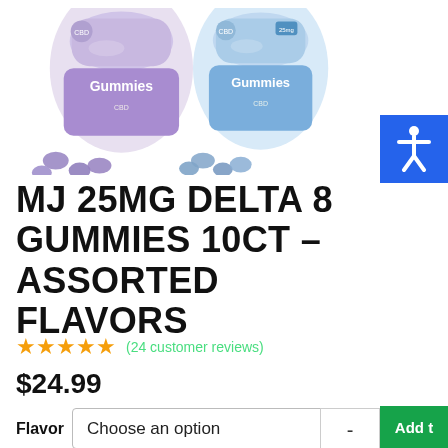[Figure (photo): Two bags of MJ gummies (one purple/lavender label, one blue label) with loose gummy candies scattered in front, on white background]
MJ 25MG DELTA 8 GUMMIES 10CT – ASSORTED FLAVORS
★★★★★ (24 customer reviews)
$24.99
Flavor  Choose an option  -  Add t